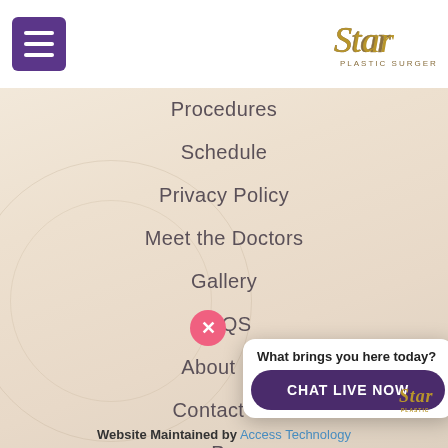[Figure (logo): Star Plastic Surgery logo - stylized cursive 'Star' with 'PLASTIC SURGERY' text below in gold/bronze color]
Procedures
Schedule
Privacy Policy
Meet the Doctors
Gallery
FAQS
About Us
Contact Us
Pa...
What brings you here today?
CHAT LIVE NOW
Website Maintained by Access Technology